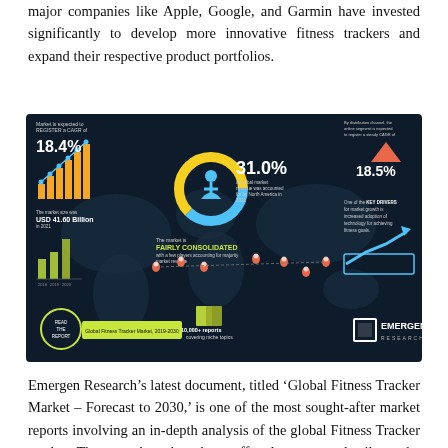major companies like Apple, Google, and Garmin have invested significantly to develop more innovative fitness trackers and expand their respective product portfolios.
[Figure (infographic): Emergen Research infographic for Global Fitness Tracker Market, 2019-2030. Key stats: Market CAGR of 18.4%, 31.0% of global market revenue accounted for by North America in 2021, online segment steady CAGR of 18.5%, market size USD 41.60 Billion in 2021, market is FAIRLY CONSOLIDATED with a few players accounting for majority market revenue, one of the KEY DRIVERS for market growth is increased adoption of technology for achieving fitness goals, 10,000+ reports covering niche topics. Report title: Global Fitness Tracker Market, 2019-2030.]
Emergen Research’s latest document, titled ‘Global Fitness Tracker Market – Forecast to 2030,’ is one of the most sought-after market reports involving an in-depth analysis of the global Fitness Tracker market. The report’s authors have offered necessary details on the latest Fitness